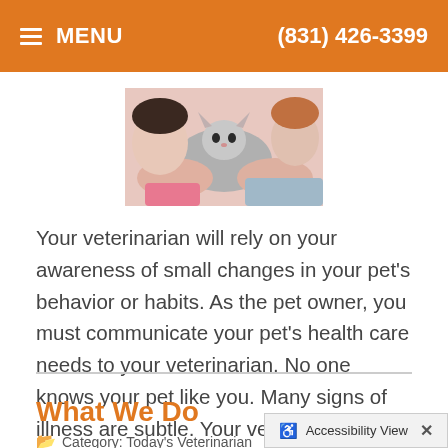MENU   (831) 426-3399
[Figure (photo): Child holding a cat, close-up photo with pink and gray tones]
Your veterinarian will rely on your awareness of small changes in your pet's behavior or habits. As the pet owner, you must communicate your pet's health care needs to your veterinarian. No one knows your pet like you. Many signs of illness are subtle. Your veterinarian will rely on your awareness of
Read more
What We Do
Category: Today's Veterinarian